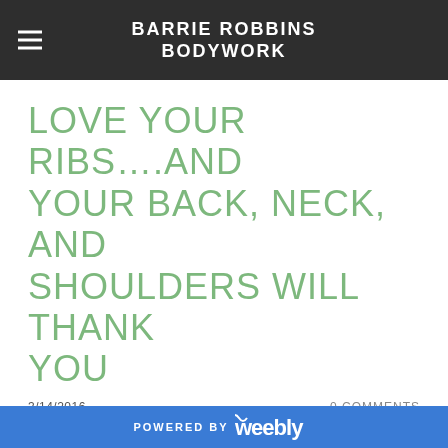BARRIE ROBBINS BODYWORK
LOVE YOUR RIBS….AND YOUR BACK, NECK, AND SHOULDERS WILL THANK YOU
3/14/2016
0 COMMENTS
Have you thought lately of your ribcage? If you examine your self-image as it pertains to your ribs, you may notice movement or you may perceive your ribs as solid structure.
POWERED BY weebly